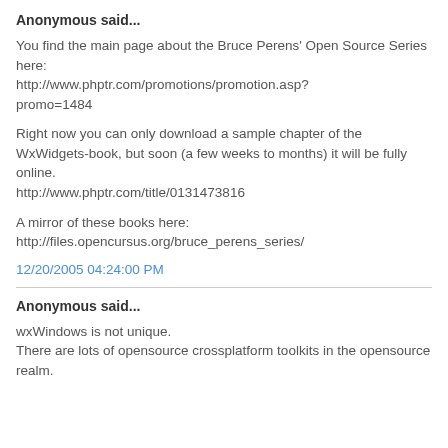Anonymous said...
You find the main page about the Bruce Perens' Open Source Series here: http://www.phptr.com/promotions/promotion.asp?promo=1484
Right now you can only download a sample chapter of the WxWidgets-book, but soon (a few weeks to months) it will be fully online. http://www.phptr.com/title/0131473816
A mirror of these books here: http://files.opencursus.org/bruce_perens_series/
12/20/2005 04:24:00 PM
Anonymous said...
wxWindows is not unique.
There are lots of opensource crossplatform toolkits in the opensource realm.